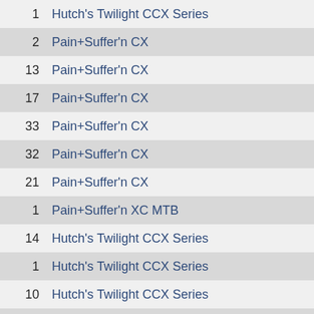1   Hutch's Twilight CCX Series
2   Pain+Suffer'n CX
13  Pain+Suffer'n CX
17  Pain+Suffer'n CX
33  Pain+Suffer'n CX
32  Pain+Suffer'n CX
21  Pain+Suffer'n CX
1   Pain+Suffer'n XC MTB
14  Hutch's Twilight CCX Series
1   Hutch's Twilight CCX Series
10  Hutch's Twilight CCX Series
2   Hutch's Twilight CCX Series